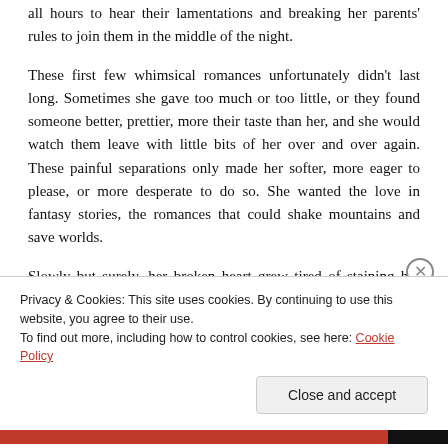all hours to hear their lamentations and breaking her parents' rules to join them in the middle of the night. These first few whimsical romances unfortunately didn't last long. Sometimes she gave too much or too little, or they found someone better, prettier, more their taste than her, and she would watch them leave with little bits of her over and over again. These painful separations only made her softer, more eager to please, or more desperate to do so. She wanted the love in fantasy stories, the romances that could shake mountains and save worlds. Slowly but surely, her broken heart grew tired of staining her messy canvas and yanked her up into the clouds. There she resolved to stay. The next time the world demanded her presence was more…
Privacy & Cookies: This site uses cookies. By continuing to use this website, you agree to their use. To find out more, including how to control cookies, see here: Cookie Policy
Close and accept